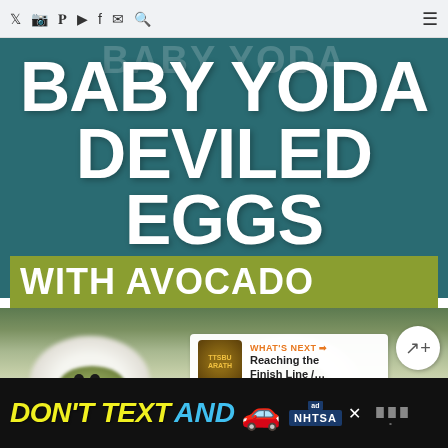Navigation bar with social media icons: Twitter, Instagram, Pinterest, YouTube, Facebook, Email, Search, and hamburger menu
BABY YODA DEVILED EGGS
WITH AVOCADO
[Figure (photo): Blurred photo of Baby Yoda deviled eggs made with avocado filling, showing two egg halves with green avocado filling and small black olive eyes resembling Baby Yoda]
DON'T TEXT AND [car emoji] — NHTSA advertisement